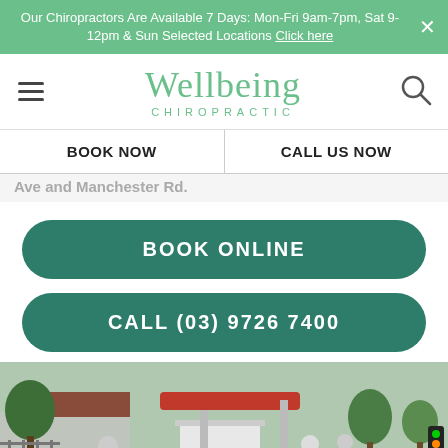Our Chiropractors Are Available 7 Days: Mon-Fri 9am-7pm, Sat 9-12pm & Sun Selected Locations Click here
[Figure (logo): Wellbeing Chiropractic logo with hamburger menu icon and search icon]
BOOK NOW | CALL US NOW
Ave and Manchester Rd.
BOOK ONLINE
CALL (03) 9726 7400
[Figure (photo): Outdoor street/public area scene near a train station with people walking, bicycles parked, trees, a small building, and a red overhead structure. Wellbeing Chiropractic watermark badge in bottom right.]